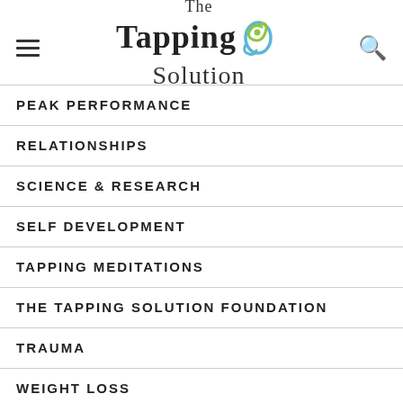[Figure (logo): The Tapping Solution logo with spiral/swirl graphic element in green and blue, hamburger menu icon on left, search icon on right]
PEAK PERFORMANCE
RELATIONSHIPS
SCIENCE & RESEARCH
SELF DEVELOPMENT
TAPPING MEDITATIONS
THE TAPPING SOLUTION FOUNDATION
TRAUMA
WEIGHT LOSS
WHAT IS TAPPING